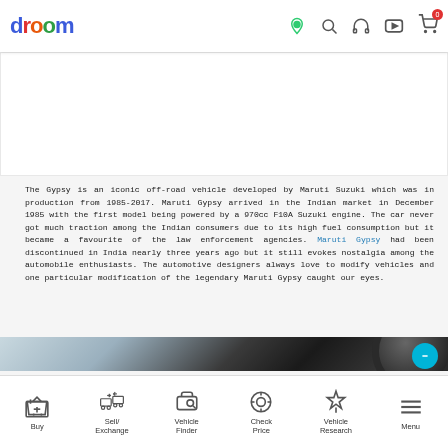droom
[Figure (photo): White banner/advertisement area]
The Gypsy is an iconic off-road vehicle developed by Maruti Suzuki which was in production from 1985-2017. Maruti Gypsy arrived in the Indian market in December 1985 with the first model being powered by a 970cc F10A Suzuki engine. The car never got much traction among the Indian consumers due to its high fuel consumption but it became a favourite of the law enforcement agencies. Maruti Gypsy had been discontinued in India nearly three years ago but it still evokes nostalgia among the automobile enthusiasts. The automotive designers always love to modify vehicles and one particular modification of the legendary Maruti Gypsy caught our eyes.
[Figure (photo): Close-up photograph of a modified Maruti Gypsy off-road vehicle showing the dark body and large tire]
Buy | Sell/Exchange | Vehicle Finder | Check Price | Vehicle Research | Menu